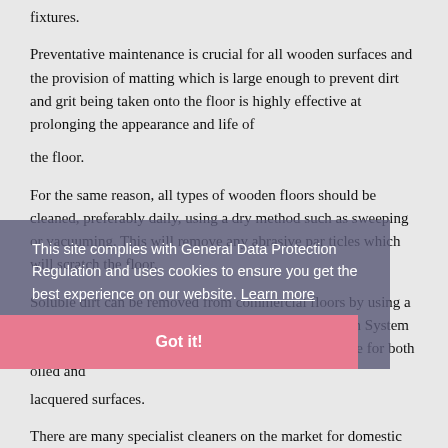fixtures.
Preventative maintenance is crucial for all wooden surfaces and the provision of matting which is large enough to prevent dirt and grit being taken onto the floor is highly effective at prolonging the appearance and life of
the floor.
For the same reason, all types of wooden floors should be cleaned, preferably daily, using a dry method such as sweeping or vacuuming. This will remove any abrasive par ticles which will scratch the floor.
Soluble dirt can be removed from commercial floors by using a spray buff system or scrubber drier. Bona's Deep Clean System is a versatile machine as the detergent it uses is suitable for both oiled and
lacquered surfaces.
There are many specialist cleaners on the market for domestic
This site complies with General Data Protection Regulation and uses cookies to ensure you get the best experience on our website. Learn more
Got it!